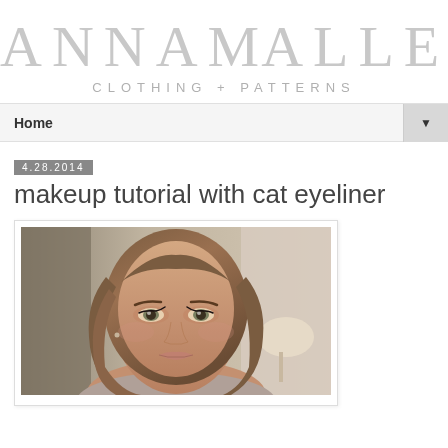ANNA ALLEN
CLOTHING + PATTERNS
Home
4.28.2014
makeup tutorial with cat eyeliner
[Figure (photo): Close-up selfie photo of a young woman with long brown hair, natural makeup including cat eyeliner, wearing a light-colored top, photographed in a room with neutral tones]